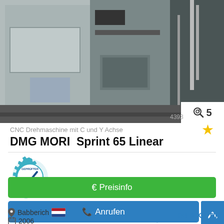[Figure (photo): CNC machine (DMG MORI Sprint 65 Linear) photographed in industrial setting, showing grey metallic machinery components]
4393... 🔍 5
CNC Drehmaschine mit C und Y Achse
DMG MORI  Sprint 65 Linear
[Figure (logo): Geprüfter Händler (verified dealer) badge/seal in teal/blue gear shape with checkmark]
€ Preisinfo
📞 Anrufen
Babberich 🇳🇱
2006
LOB & KRITIK